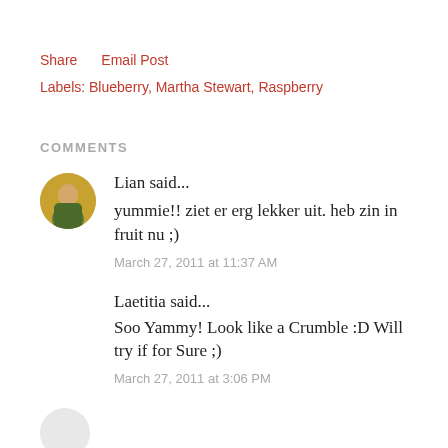Share    Email Post
Labels: Blueberry, Martha Stewart, Raspberry
COMMENTS
[Figure (photo): Round avatar photo of a person, warm yellow/green background]
Lian said...
yummie!! ziet er erg lekker uit. heb zin in fruit nu ;)
March 27, 2011 at 11:37 AM
Laetitia said...
Soo Yammy! Look like a Crumble :D Will try if for Sure ;)
March 27, 2011 at 3:06 PM